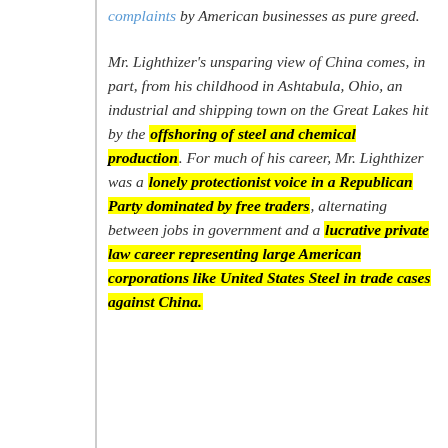complaints by American businesses as pure greed.

Mr. Lighthizer's unsparing view of China comes, in part, from his childhood in Ashtabula, Ohio, an industrial and shipping town on the Great Lakes hit by the offshoring of steel and chemical production. For much of his career, Mr. Lighthizer was a lonely protectionist voice in a Republican Party dominated by free traders, alternating between jobs in government and a lucrative private law career representing large American corporations like United States Steel in trade cases against China.